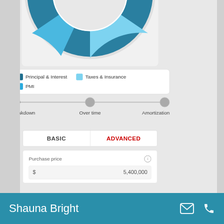[Figure (donut-chart): Partial donut/pie chart showing mortgage payment breakdown. Large teal/dark-blue segment visible (Principal & Interest), with a white center. Chart is cropped at top.]
Principal & Interest   Taxes & Insurance   PMI
Breakdown   Over time   Amortization
BASIC   ADVANCED
Purchase price
$ 5,400,000
Shauna Bright